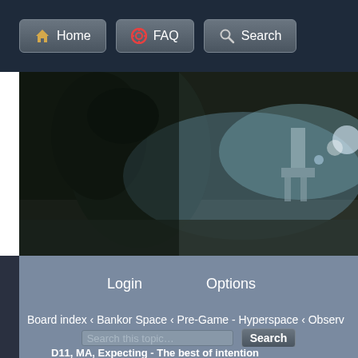Home | FAQ | Search
[Figure (photo): Dark action/war game banner image showing a soldier in close-up on the left with a battlefield scene featuring mechanical walkers/AT-ATs in misty background on the right]
Login    Options
Board index ‹ Bankor Space ‹ Pre-Game - Hyperspace ‹ Observ
Search this topic…   Search
D11, MA, Expecting - The best of intention